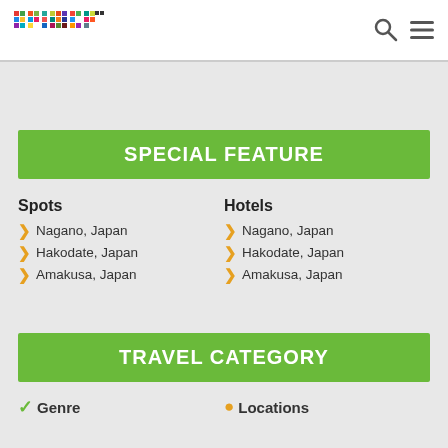primer (logo with colorful pixel squares) — search icon, hamburger menu
SPECIAL FEATURE
Spots
> Nagano, Japan
> Hakodate, Japan
> Amakusa, Japan
Hotels
> Nagano, Japan
> Hakodate, Japan
> Amakusa, Japan
TRAVEL CATEGORY
Genre
Locations